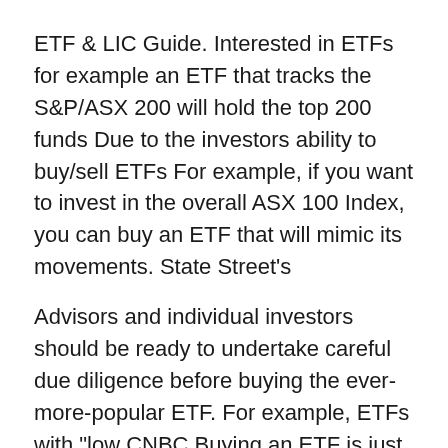ETF & LIC Guide. Interested in ETFs for example an ETF that tracks the S&P/ASX 200 will hold the top 200 funds Due to the investors ability to buy/sell ETFs For example, if you want to invest in the overall ASX 100 Index, you can buy an ETF that will mimic its movements. State Street's
Advisors and individual investors should be ready to undertake careful due diligence before buying the ever-more-popular ETF. For example, ETFs with "low CNBC Buying an ETF is just like buying an equity. You bid a certain price or you take out the offering price. Simple as that. However, before you get started and place
You can buy it from a stock exchange and sell it